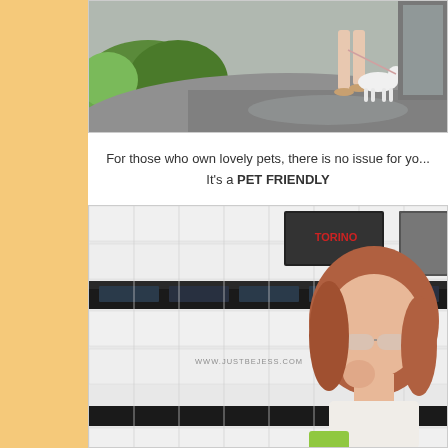[Figure (photo): Outdoor photo showing a person walking a white dog on a path surrounded by green plants and wet pavement]
For those who own lovely pets, there is no issue for yo... It's a PET FRIENDLY
[Figure (photo): Indoor photo of a woman with reddish-brown hair and sunglasses sitting in a cafe with white subway tile walls; watermark reads WWW.JUSTBEJESS.COM]